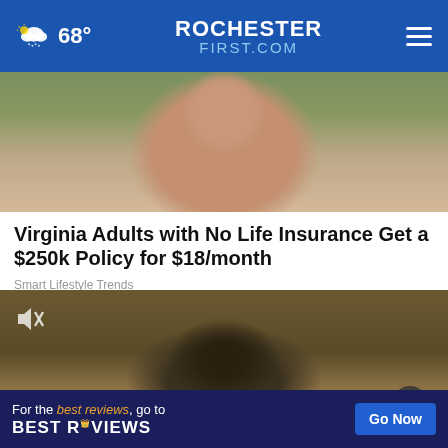68° ROCHESTERFIRST.COM
[Figure (photo): Close-up of an elderly person's face, wearing a light blue jacket, with a green background]
Virginia Adults with No Life Insurance Get a $250k Policy for $18/month
Smart Lifestyle Trends
[Figure (screenshot): Video still showing a wall-mounted outdoor light fixture or security camera on a textured stone wall, with a mute icon overlay]
[Figure (other): Advertisement banner: For the best reviews, go to BESTREVIEWS with a Go Now button]